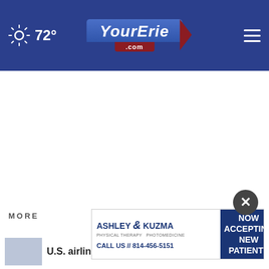72° YourErie.com
[Figure (screenshot): White advertisement space area]
MORE
[Figure (illustration): Ashley & Kuzma Physical Therapy Photomedicine – NOW ACCEPTING NEW PATIENTS – CALL US // 814-456-5151]
U.S. airline passenger complaints